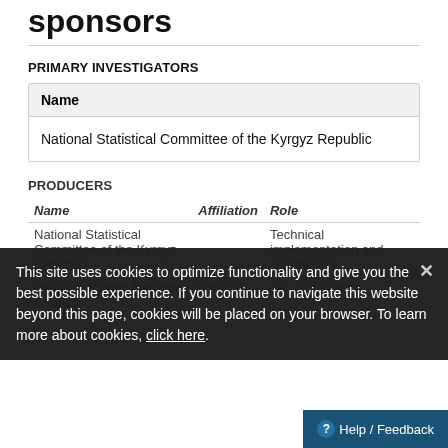sponsors
PRIMARY INVESTIGATORS
| Name |
| --- |
| National Statistical Committee of the Kyrgyz Republic |
PRODUCERS
| Name | Affiliation | Role |
| --- | --- | --- |
| National Statistical Committee of the Kyrgyz Republic |  | Technical implementation and supervision |
| UNICEF, Kyrgyz Republic Country | UNICEF | Technical assistance |
This site uses cookies to optimize functionality and give you the best possible experience. If you continue to navigate this website beyond this page, cookies will be placed on your browser. To learn more about cookies, click here.